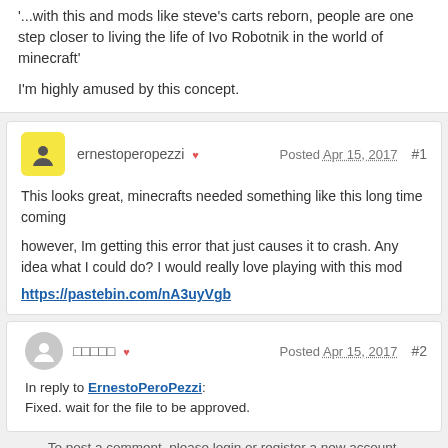'...with this and mods like steve's carts reborn, people are one step closer to living the life of Ivo Robotnik in the world of minecraft'
I'm highly amused by this concept.
ernestoperopezzi ♥  Posted Apr 15, 2017  #1
This looks great, minecrafts needed something like this long time coming
however, Im getting this error that just causes it to crash. Any idea what I could do? I would really love playing with this mod
https://pastebin.com/nA3uyVgb
□□□□□ ♥  Posted Apr 15, 2017  #2
In reply to ErnestoPeroPezzi: Fixed. wait for the file to be approved.
To post a comment, please login or register a new account.